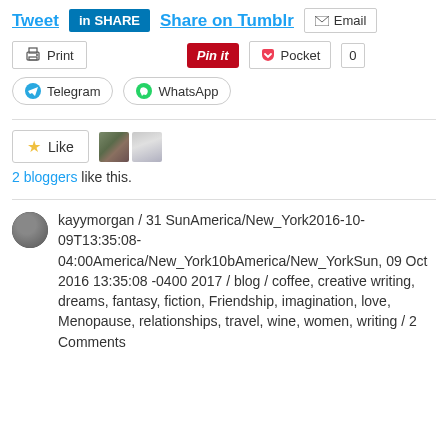Tweet  |  in SHARE  |  Share on Tumblr  |  Email
Print  |  Pin it  |  Pocket  0
Telegram  |  WhatsApp
Like  [2 blogger avatars]
2 bloggers like this.
kayymorgan / 31 SunAmerica/New_York2016-10-09T13:35:08-04:00America/New_York10bAmerica/New_YorkSun, 09 Oct 2016 13:35:08 -0400 2017 / blog / coffee, creative writing, dreams, fantasy, fiction, Friendship, imagination, love, Menopause, relationships, travel, wine, women, writing / 2 Comments